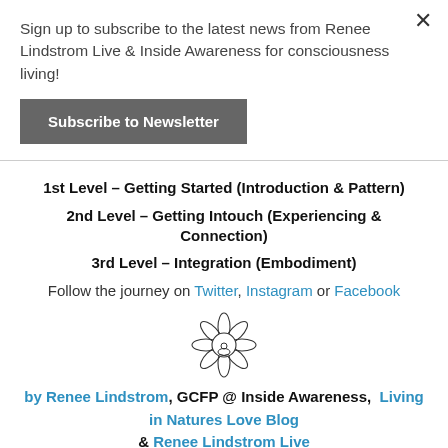Sign up to subscribe to the latest news from Renee Lindstrom Live & Inside Awareness for consciousness living!
Subscribe to Newsletter
1st Level – Getting Started (Introduction & Pattern)
2nd Level – Getting Intouch (Experiencing & Connection)
3rd Level – Integration (Embodiment)
Follow the journey on Twitter, Instagram or Facebook
[Figure (illustration): Lotus flower with meditating figure icon in center, outlined in black]
by Renee Lindstrom, GCFP @ Inside Awareness,  Living in Natures Love Blog & Renee Lindstrom Live